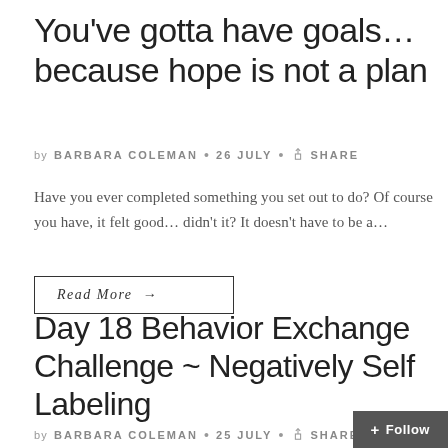You've gotta have goals…because hope is not a plan
by BARBARA COLEMAN • 26 JULY • SHARE
Have you ever completed something you set out to do?  Of course you have, it felt good… didn't it?  It doesn't have to be a…
Read More →
Day 18 Behavior Exchange Challenge ~ Negatively Self Labeling
by BARBARA COLEMAN • 25 JULY • SHARE